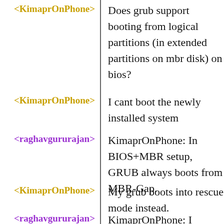<KimaprOnPhone>
Does grub support booting from logical partitions (in extended partitions on mbr disk) on bios?
<KimaprOnPhone>
I cant boot the newly installed system
<raghavgururajan>
KimaprOnPhone: In BIOS+MBR setup, GRUB always boots from MBR-Gap.
<KimaprOnPhone>
My grub boots into rescue mode instead.
<raghavgururajan>
KimaprOnPhone: I suspect that you mentioned sdaX instead